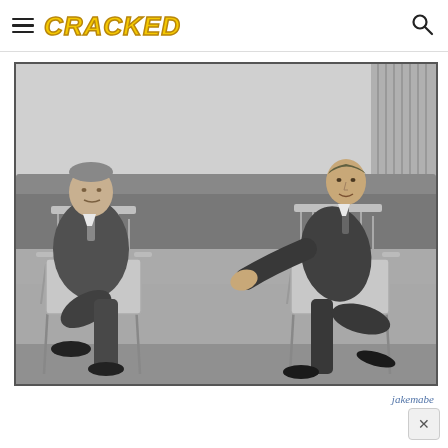CRACKED
[Figure (photo): Black and white photograph of two men in suits sitting in wicker/rattan outdoor chairs on a lawn, appearing to have a conversation. A hedge is visible in the background, along with the side of a building on the right. The man on the left is heavier-set, the man on the right is leaning forward gesturing with his hands.]
jakemabe